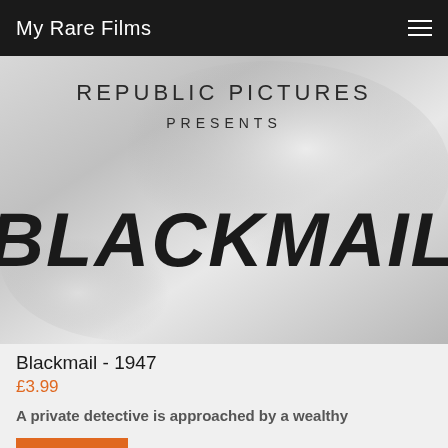My Rare Films
[Figure (screenshot): Movie title card screenshot showing 'REPUBLIC PICTURES PRESENTS' at the top and 'BLACKMAIL' in large bold italic letters on a silver metallic background]
Blackmail - 1947
£3.99
A private detective is approached by a wealthy
SHOP